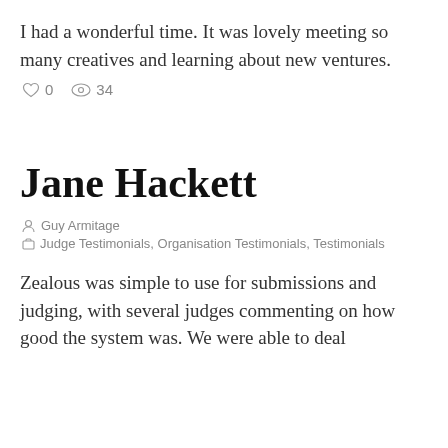I had a wonderful time. It was lovely meeting so many creatives and learning about new ventures.
0   34
Jane Hackett
Guy Armitage
Judge Testimonials, Organisation Testimonials, Testimonials
Zealous was simple to use for submissions and judging, with several judges commenting on how good the system was. We were able to deal